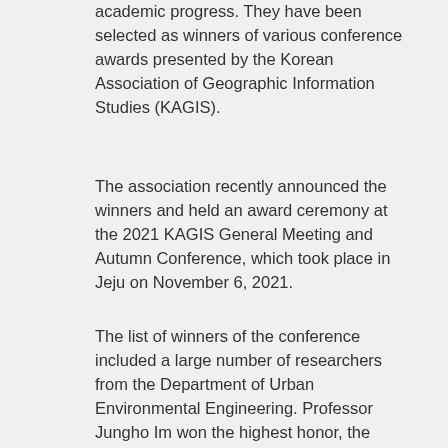academic progress. They have been selected as winners of various conference awards presented by the Korean Association of Geographic Information Studies (KAGIS).
The association recently announced the winners and held an award ceremony at the 2021 KAGIS General Meeting and Autumn Conference, which took place in Jeju on November 6, 2021.
The list of winners of the conference included a large number of researchers from the Department of Urban Environmental Engineering. Professor Jungho Im won the highest honor, the Scholar Award, while Professor Im's students, Sumin Park won the Young Researcher Award. Taejun Sung, Sanghyeon Song, and Dukwon Bae from Professor Im's laboratory also won